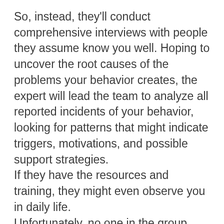So, instead, they'll conduct comprehensive interviews with people they assume know you well. Hoping to uncover the root causes of the problems your behavior creates, the expert will lead the team to analyze all reported incidents of your behavior, looking for patterns that might indicate triggers, motivations, and possible support strategies. If they have the resources and training, they might even observe you in daily life. Unfortunately, no one in the group considers how you will undoubtedly realize that you're being shadowed, tracked, and observed. Predictably, you realize what's happening, and you don't appreciate the surveillance. As a result, your 'behavior' artificially becomes much worse or